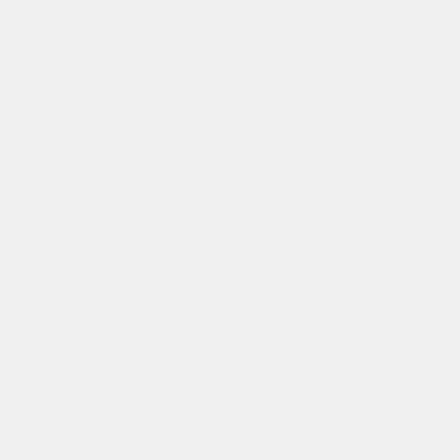[Figure (screenshot): Advertisement banner for Frávega Como La Familia with purple button labeled Abrir and brand logo image]
▶ Frávega
[Figure (screenshot): Dark circular badge/emblem with gold stars, partially visible, overlaid on grey background]
[Figure (screenshot): White collapse/accordion button with upward arrow (^)]
<a id="myInput" target="_blank" rel="noopener" href="https://wwwweddingdiaries.com.au/beach-wedding-venues/wa/perth"><img width="250px" height="250px" data-class="LazyLoad" src="https://wwwweddingdiaries.com.au/wp-content/uploads/blank.png" data-src="https://d2x683g558v4gLcloudfront.net/wp-...
[Figure (screenshot): Gold/tan button labeled COPY CODE]
[Figure (screenshot): Circular scroll-up button with upward arrow]
[Figure (screenshot): Share button area with icon and SHARE label at bottom left]